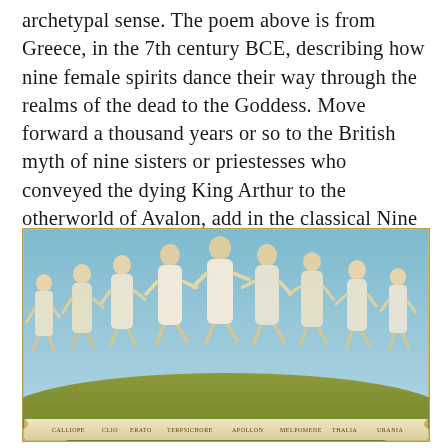archetypal sense. The poem above is from Greece, in the 7th century BCE, describing how nine female spirits dance their way through the realms of the dead to the Goddess. Move forward a thousand years or so to the British myth of nine sisters or priestesses who conveyed the dying King Arthur to the otherworld of Avalon, add in the classical Nine Muses along the way, and we begin to see a story here, of nine women engaged on sacred tasks.
[Figure (illustration): Classical illustration of nine female figures (the Nine Muses) dancing in a circle on a grassy mound against a blue sky background, wearing flowing draped garments in cream and white tones with golden highlights. Names in banners/scrolls appear along the bottom of the image.]